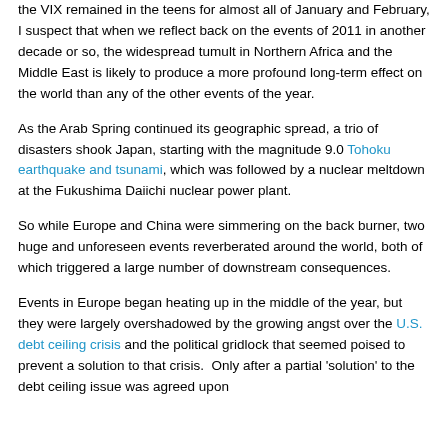the VIX remained in the teens for almost all of January and February, I suspect that when we reflect back on the events of 2011 in another decade or so, the widespread tumult in Northern Africa and the Middle East is likely to produce a more profound long-term effect on the world than any of the other events of the year.
As the Arab Spring continued its geographic spread, a trio of disasters shook Japan, starting with the magnitude 9.0 Tohoku earthquake and tsunami, which was followed by a nuclear meltdown at the Fukushima Daiichi nuclear power plant.
So while Europe and China were simmering on the back burner, two huge and unforeseen events reverberated around the world, both of which triggered a large number of downstream consequences.
Events in Europe began heating up in the middle of the year, but they were largely overshadowed by the growing angst over the U.S. debt ceiling crisis and the political gridlock that seemed poised to prevent a solution to that crisis.  Only after a partial 'solution' to the debt ceiling issue was agreed upon